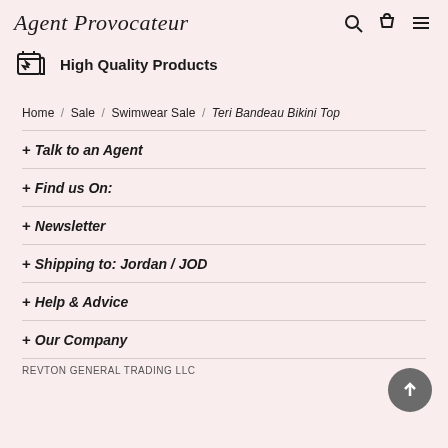Agent Provocateur
High Quality Products
Home / Sale / Swimwear Sale / Teri Bandeau Bikini Top
+ Talk to an Agent
+ Find us On:
+ Newsletter
+ Shipping to: Jordan / JOD
+ Help & Advice
+ Our Company
REVTON GENERAL TRADING LLC